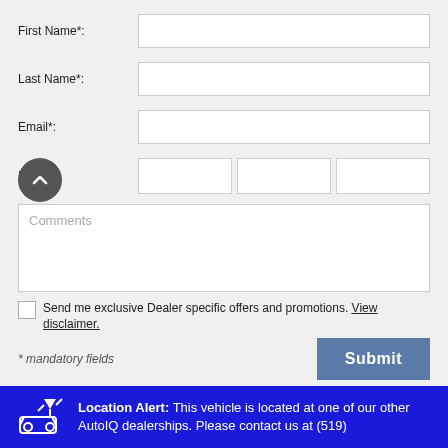First Name*:
Last Name*:
Email*:
Phone*:
Comments
Send me exclusive Dealer specific offers and promotions. View disclaimer.
* mandatory fields
Submit
Location Alert: This vehicle is located at one of our other AutoIQ dealerships. Please contact us at (519)